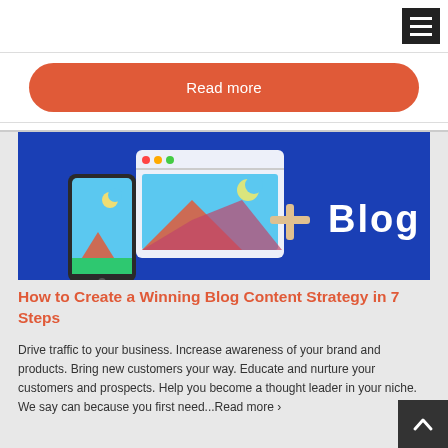Read more
[Figure (illustration): Blog banner image with blue background showing a smartphone, a browser window with an image, a plus sign, and the word 'Blog' in white text]
How to Create a Winning Blog Content Strategy in 7 Steps
Drive traffic to your business. Increase awareness of your brand and products. Bring new customers your way. Educate and nurture your customers and prospects. Help you become a thought leader in your niche. We say can because you first need...Read more ›